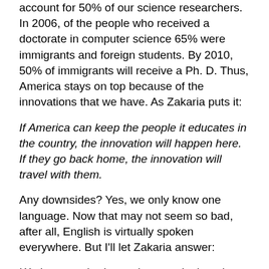account for 50% of our science researchers.  In 2006, of the people who received a doctorate in computer science 65% were immigrants and foreign students.  By 2010, 50% of immigrants will receive a Ph. D.  Thus, America stays on top because of the innovations that we have.  As Zakaria puts it:
If America can keep the people it educates in the country, the innovation will happen here.  If they go back home, the innovation will travel with them.
Any downsides?  Yes, we only know one language.  Now that may not seem so bad, after all, English is virtually spoken everywhere.  But I'll let Zakaria answer:
We have not had to reciprocate by learning foreign languages, cultures, and markets.  Now that could leave America at a competitive disadvantage.  Take the spread